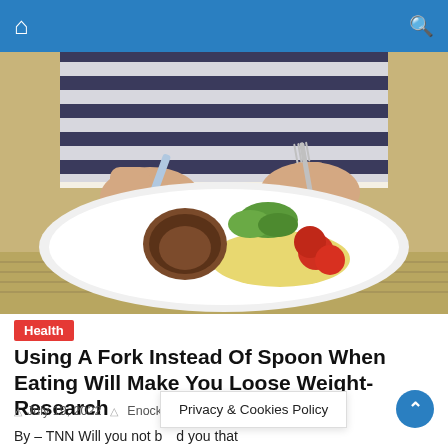Navigation bar with home and search icons
[Figure (photo): Person cutting a meat medallion on a white plate with salad greens and cherry tomatoes, wearing a striped shirt, using a knife and fork]
Health
Using A Fork Instead Of Spoon When Eating Will Make You Loose Weight- Research
July 19, 2022   Enock Akonnor
By – TNN Will you not b... you that
Privacy & Cookies Policy